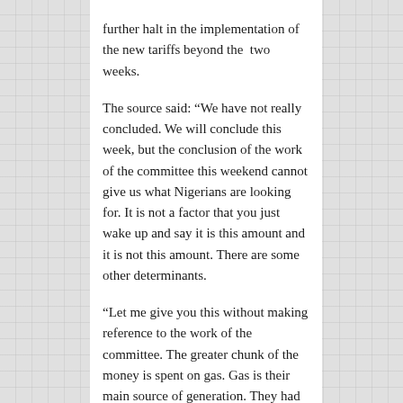further halt in the implementation of the new tariffs beyond the two weeks.
The source said: “We have not really concluded. We will conclude this week, but the conclusion of the work of the committee this weekend cannot give us what Nigerians are looking for. It is not a factor that you just wake up and say it is this amount and it is not this amount. There are some other determinants.
“Let me give you this without making reference to the work of the committee. The greater chunk of the money is spent on gas. Gas is their main source of generation. They had to now dollarise gas before they now price it at the GenCos.
“If GenCos now allegedly buy gas in dollar, then they now pass the dollar